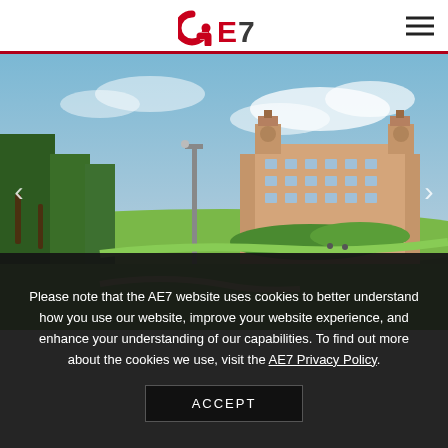[Figure (logo): AE7 company logo in red and dark gray]
[Figure (photo): Architectural rendering of a large resort/hotel building with clock towers, surrounded by golf course and palm trees under a partly cloudy sky]
Please note that the AE7 website uses cookies to better understand how you use our website, improve your website experience, and enhance your understanding of our capabilities. To find out more about the cookies we use, visit the AE7 Privacy Policy.
ACCEPT